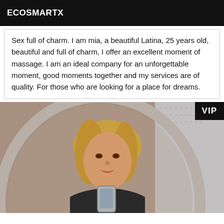ECOSMARTX
Sex full of charm. I am mia, a beautiful Latina, 25 years old, beautiful and full of charm, I offer an excellent moment of massage. I am an ideal company for an unforgettable moment, good moments together and my services are of quality. For those who are looking for a place for dreams.
[Figure (photo): Selfie photo of a blonde woman holding a phone in a mirror, with a VIP badge in top-right corner. Interior setting with a large oval mirror.]